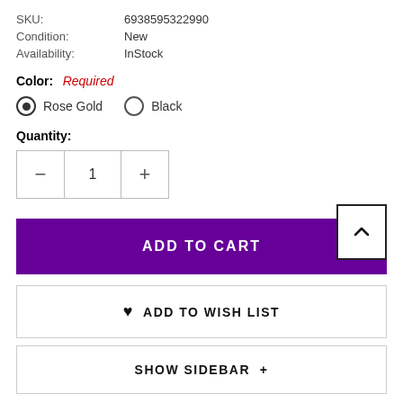SKU: 6938595322990
Condition: New
Availability: InStock
Color: Required
Rose Gold (selected)
Black
Quantity:
− 1 +
ADD TO CART
ADD TO WISH LIST
SHOW SIDEBAR +